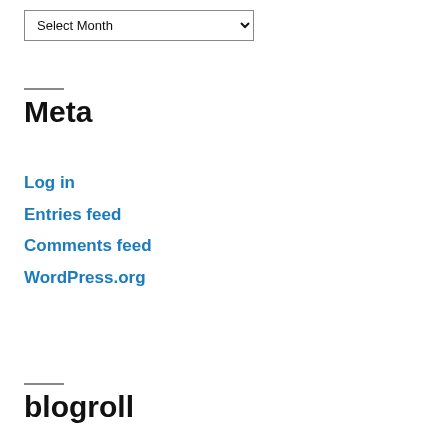Select Month
Meta
Log in
Entries feed
Comments feed
WordPress.org
blogroll